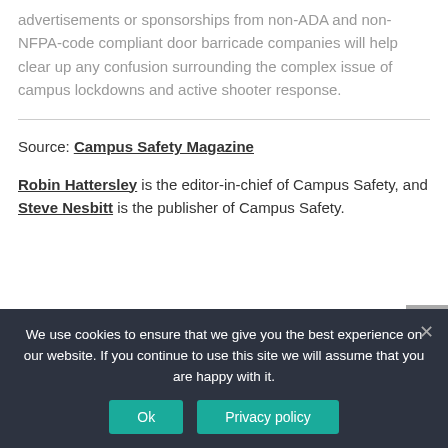advertisements or sponsorships from non-ADA and non-NFPA-code compliant door barricade companies will help clear up any confusion surrounding the complex issue of campus lockdowns and active shooter response.
Source: Campus Safety Magazine
Robin Hattersley is the editor-in-chief of Campus Safety, and Steve Nesbitt is the publisher of Campus Safety.
We use cookies to ensure that we give you the best experience on our website. If you continue to use this site we will assume that you are happy with it.